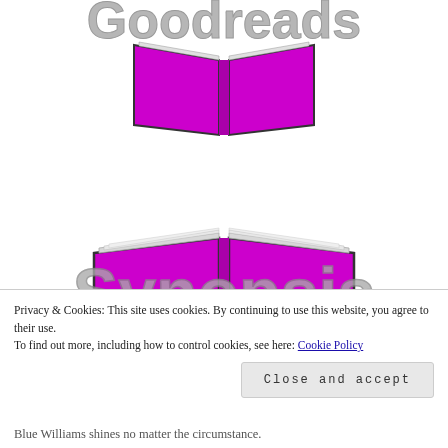[Figure (logo): Goodreads logo: stylized cursive 'Goodreads' text in gray with a magenta/purple open book icon below it]
[Figure (logo): Open book illustration with gray pages and magenta/purple covers, with large cursive 'Synopsis' text overlaid in gray]
Privacy & Cookies: This site uses cookies. By continuing to use this website, you agree to their use.
To find out more, including how to control cookies, see here: Cookie Policy
Close and accept
Blue Williams shines no matter the circumstance.